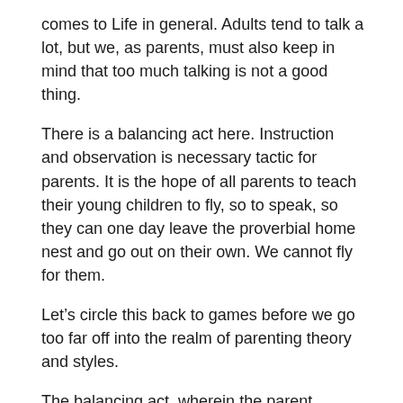comes to Life in general. Adults tend to talk a lot, but we, as parents, must also keep in mind that too much talking is not a good thing.
There is a balancing act here. Instruction and observation is necessary tactic for parents. It is the hope of all parents to teach their young children to fly, so to speak, so they can one day leave the proverbial home nest and go out on their own. We cannot fly for them.
Let’s circle this back to games before we go too far off into the realm of parenting theory and styles.
The balancing act, wherein the parent teeters between instruction and observation, is a constant back and forth. For example, when a child is playing a game for the first time, the parent is almost always leaning heavily towards instruction. However, once the game is taught, the rules